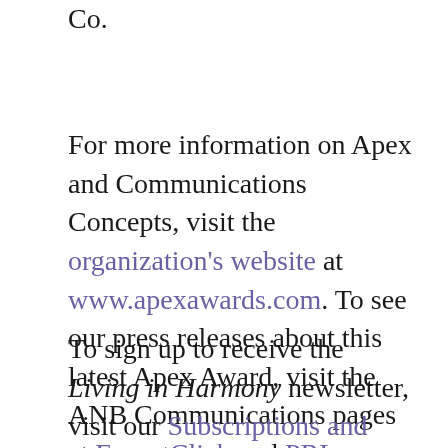Co.
For more information on Apex and Communications Concepts, visit the organization's website at www.apexawards.com. To see our press releases about this latest Apex Award, visit the ANB Communications pages at ExpertClick and PRLog.
To sign up to receive the Living in Harmony newsletter, visit our Subscriptions and Archives page. While there, be sure to browse the archived